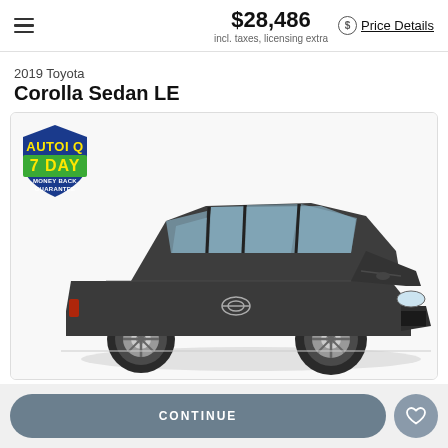$28,486 incl. taxes, licensing extra — Price Details
2019 Toyota
Corolla Sedan LE
[Figure (photo): 2019 Toyota Corolla Sedan LE in dark grey/charcoal color, 3/4 front view, displayed on a white background with a '7 Day Money Back Guarantee' badge in the upper left corner of the image frame.]
CONTINUE